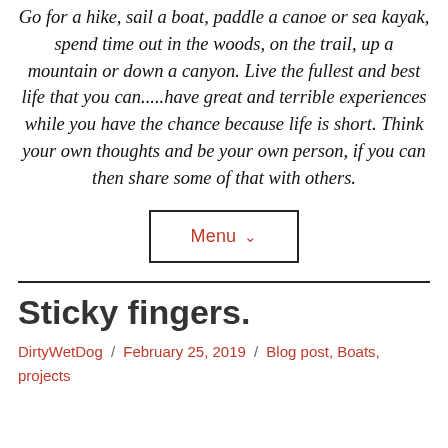Go for a hike, sail a boat, paddle a canoe or sea kayak, spend time out in the woods, on the trail, up a mountain or down a canyon. Live the fullest and best life that you can.....have great and terrible experiences while you have the chance because life is short. Think your own thoughts and be your own person, if you can then share some of that with others.
[Figure (other): Menu button with downward chevron arrow, outlined in black border]
Sticky fingers.
DirtyWetDog / February 25, 2019 / Blog post, Boats, projects